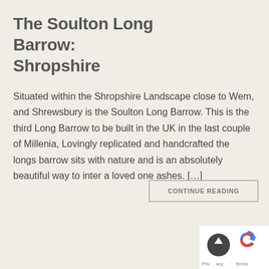The Soulton Long Barrow: Shropshire
Situated within the Shropshire Landscape close to Wem, and Shrewsbury is the Soulton Long Barrow. This is the third Long Barrow to be built in the UK in the last couple of Millenia, Lovingly replicated and handcrafted the longs barrow sits with nature and is an absolutely beautiful way to inter a loved one ashes. […]
CONTINUE READING
[Figure (other): Scroll-to-top button widget with reCAPTCHA logo and Privacy/Terms text]